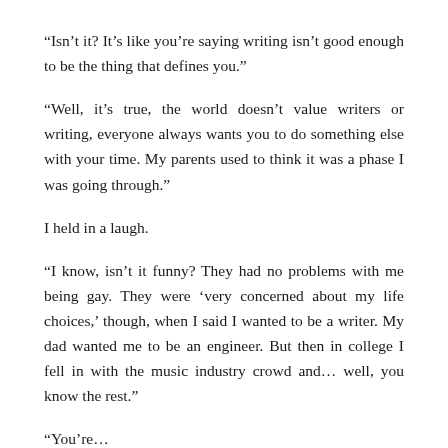“Isn’t it? It’s like you’re saying writing isn’t good enough to be the thing that defines you.”
“Well, it’s true, the world doesn’t value writers or writing, everyone always wants you to do something else with your time. My parents used to think it was a phase I was going through.”
I held in a laugh.
“I know, isn’t it funny? They had no problems with me being gay. They were ‘very concerned about my life choices,’ though, when I said I wanted to be a writer. My dad wanted me to be an engineer. But then in college I fell in with the music industry crowd and… well, you know the rest.”
“You’re…